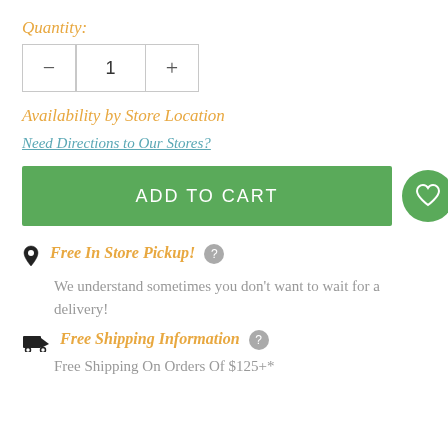Quantity:
1
Availability by Store Location
Need Directions to Our Stores?
ADD TO CART
Free In Store Pickup!
We understand sometimes you don't want to wait for a delivery!
Free Shipping Information
Free Shipping On Orders Of $125+*